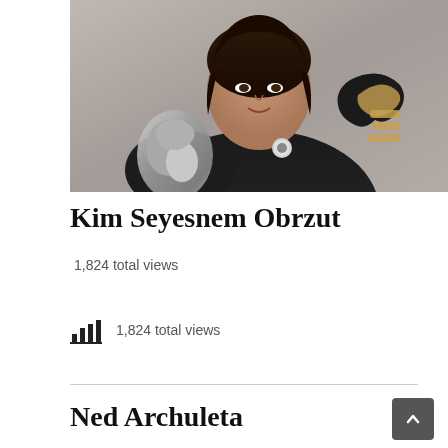[Figure (photo): Portrait photo of Kim Seyesnem Obrzut, a woman with dark curly hair wearing a black jacket, holding metallic sculptural objects.]
Kim Seyesnem Obrzut
1,824 total views
1,824 total views
Ned Archuleta